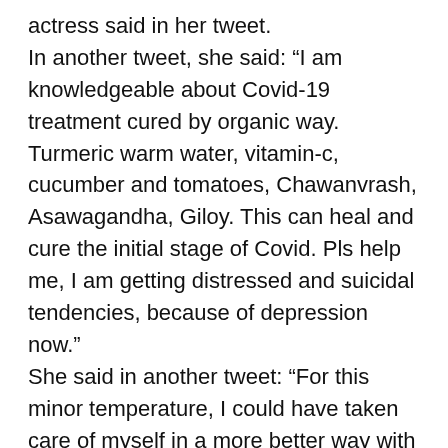actress said in her tweet. In another tweet, she said: “I am knowledgeable about Covid-19 treatment cured by organic way. Turmeric warm water, vitamin-c, cucumber and tomatoes, Chawanvrash, Asawagandha, Giloy. This can heal and cure the initial stage of Covid. Pls help me, I am getting distressed and suicidal tendencies, because of depression now.” She said in another tweet: “For this minor temperature, I could have taken care of myself in a more better way with organic medicines, herbs, soups, vitamin-c fruit etc. Dr and Nurse have never come to see us, so why (did) they kept us here.” She said : “I live in Mumbai. I came to Assam to my home town. I had a mild temperature,